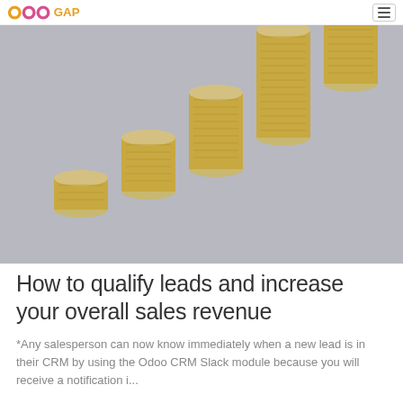OdooGAP
[Figure (photo): Stacks of gold coins arranged in ascending height from left to right against a grey background, suggesting financial growth.]
How to qualify leads and increase your overall sales revenue
*Any salesperson can now know immediately when a new lead is in their CRM by using the Odoo CRM Slack module because you will receive a notification i...